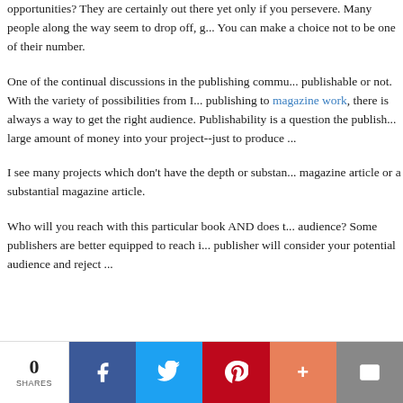opportunities? They are certainly out there yet only if you persevere. Many people along the way seem to drop off, g... You can make a choice not to be one of their number.
One of the continual discussions in the publishing commu... publishable or not. With the variety of possibilities from I... publishing to magazine work, there is always a way to get the right audience. Publishability is a question the publish... large amount of money into your project--just to produce ...
I see many projects which don't have the depth or substan... magazine article or a substantial magazine article.
Who will you reach with this particular book AND does t... audience? Some publishers are better equipped to reach i... publisher will consider your potential audience and reject ...
0 SHARES | Facebook | Twitter | Pinterest | Plus | Email